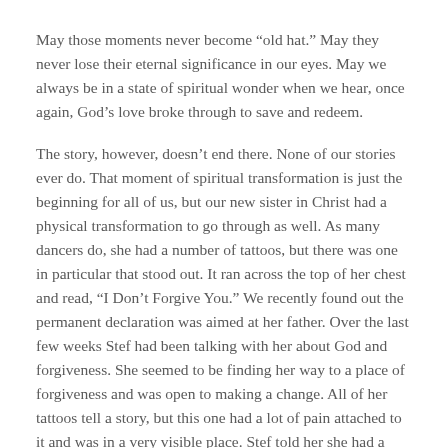May those moments never become “old hat.” May they never lose their eternal significance in our eyes. May we always be in a state of spiritual wonder when we hear, once again, God’s love broke through to save and redeem.
The story, however, doesn’t end there. None of our stories ever do. That moment of spiritual transformation is just the beginning for all of us, but our new sister in Christ had a physical transformation to go through as well. As many dancers do, she had a number of tattoos, but there was one in particular that stood out. It ran across the top of her chest and read, “I Don’t Forgive You.” We recently found out the permanent declaration was aimed at her father. Over the last few weeks Stef had been talking with her about God and forgiveness. She seemed to be finding her way to a place of forgiveness and was open to making a change. All of her tattoos tell a story, but this one had a lot of pain attached to it and was in a very visible place. Stef told her she had a friend who was a tattoo artist and suggested they talk to him to see